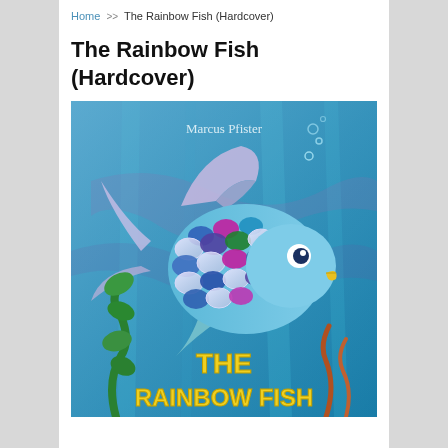Home >> The Rainbow Fish (Hardcover)
The Rainbow Fish (Hardcover)
[Figure (illustration): Book cover of 'The Rainbow Fish' by Marcus Pfister, showing a colorful fish with shimmering scales underwater, with text 'THE RAINBOW FISH' in yellow letters at the bottom, on a blue aquatic background with seaweed.]